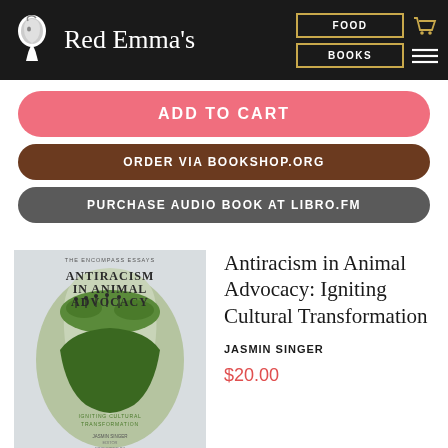Red Emma's — FOOD | BOOKS
ADD TO CART
ORDER VIA BOOKSHOP.ORG
PURCHASE AUDIO BOOK AT LIBRO.FM
[Figure (illustration): Book cover: Antiracism in Animal Advocacy — Igniting Cultural Transformation. Shows silhouette of a head filled with green landscape, people walking on top.]
Antiracism in Animal Advocacy: Igniting Cultural Transformation
JASMIN SINGER
$20.00